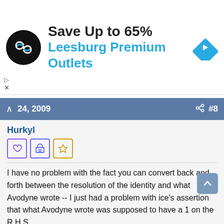[Figure (infographic): Advertisement banner: black circular logo with infinity/loop icon, text 'Save Up to 65%' in bold black and 'Leesburg Premium Outlets' in bold cyan/blue, blue diamond navigation icon on right]
24, 2009  #8
Hurkyl
[Figure (infographic): Three small icon boxes: purple heart outline, indigo building/institution icon, gold star outline]
I have no problem with the fact you can convert back and forth between the resolution of the identity and what Avodyne wrote -- I just had a problem with ice's assertion that what Avodyne wrote was supposed to have a 1 on the R.H.S.
I actually don't have a problem with your